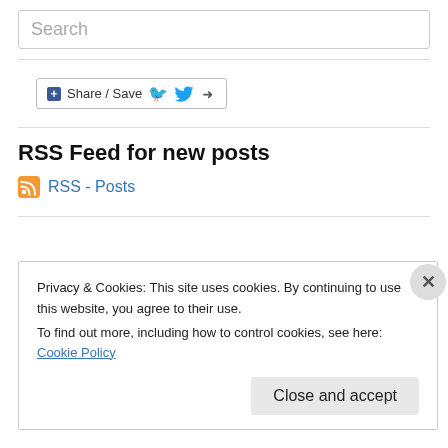Search
[Figure (other): Share / Save button with Facebook, Twitter, and share icons]
RSS Feed for new posts
RSS - Posts
Privacy & Cookies: This site uses cookies. By continuing to use this website, you agree to their use.
To find out more, including how to control cookies, see here: Cookie Policy
Close and accept